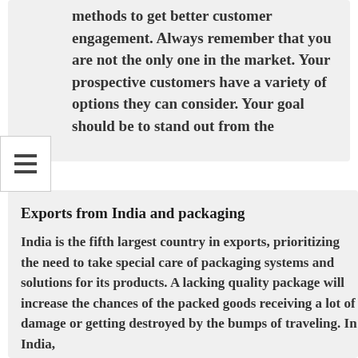methods to get better customer engagement. Always remember that you are not the only one in the market. Your prospective customers have a variety of options they can consider. Your goal should be to stand out from the
Exports from India and packaging
India is the fifth largest country in exports, prioritizing the need to take special care of packaging systems and solutions for its products. A lacking quality package will increase the chances of the packed goods receiving a lot of damage or getting destroyed by the bumps of traveling. In India,